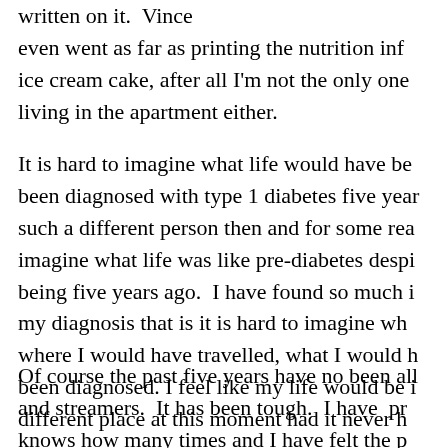written on it.  Vince even went as far as printing the nutrition inf ice cream cake, after all I'm not the only one living in the apartment either.
It is hard to imagine what life would have be been diagnosed with type 1 diabetes five year such a different person then and for some rea imagine what life was like pre-diabetes despi being five years ago.  I have found so much i my diagnosis that is it is hard to imagine wh where I would have travelled, what I would h been diagnosed. I feel like my life would be i different place at this moment had it never h
Of course the past five years have no been all and streamers.  It has been tough.  I have  pr knows how many times and I have felt the p that is now my diabetes. It is it...